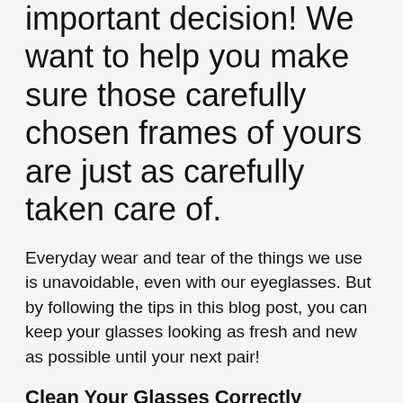important decision! We want to help you make sure those carefully chosen frames of yours are just as carefully taken care of.
Everyday wear and tear of the things we use is unavoidable, even with our eyeglasses. But by following the tips in this blog post, you can keep your glasses looking as fresh and new as possible until your next pair!
Clean Your Glasses Correctly
Cleaning your glasses on a daily basis is a great way to keep them in good shape. However, cleaning them correctly is important. Using lukewarm water and lotion-free dishwashing liquid, gently rub both sides of the lenses and your frames. Rinse and dry with a lint-free towel and voila!